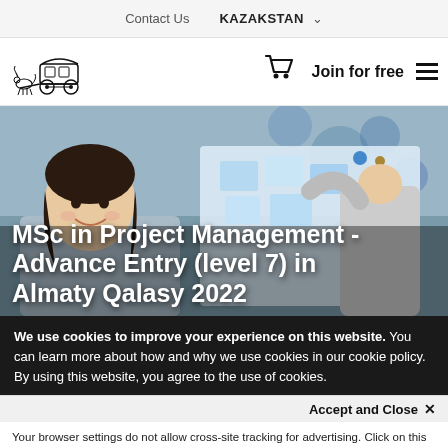Contact Us   KAZAKSTAN
[Figure (logo): Horse carriage logo (black illustration)]
Join for free
[Figure (photo): Woman smiling while working at a whiteboard with sticky notes, alongside another person]
MSc in Project Management - Advance Entry (level 7) in Almaty Qalasy 2022
We use cookies to improve your experience on this website. You can learn more about how and why we use cookies in our cookie policy. By using this website, you agree to the use of cookies.
Accept and Close ×
Your browser settings do not allow cross-site tracking for advertising. Click on this page to allow AdRoll to use cross-site tracking to tailor ads to you. Learn more or opt out of this AdRoll tracking by clicking here. This message only appears once.